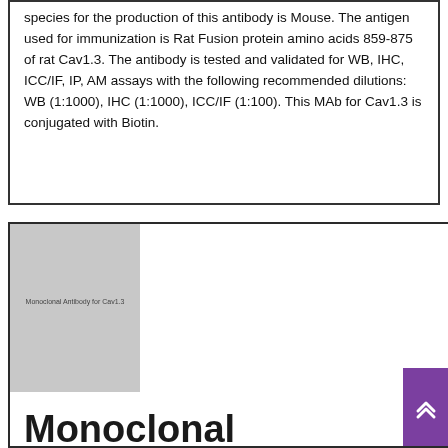species for the production of this antibody is Mouse. The antigen used for immunization is Rat Fusion protein amino acids 859-875 of rat Cav1.3. The antibody is tested and validated for WB, IHC, ICC/IF, IP, AM assays with the following recommended dilutions: WB (1:1000), IHC (1:1000), ICC/IF (1:100). This MAb for Cav1.3 is conjugated with Biotin.
[Figure (other): Thumbnail image placeholder for Monoclonal antibody for Cav1.3 product, gray rectangle with small label text]
Monoclonal antibody for Cav1.3